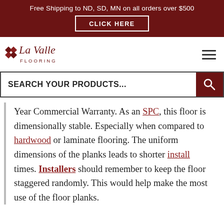Free Shipping to ND, SD, MN on all orders over $500
[Figure (logo): La Valle Flooring logo with decorative diamond tile icon and cursive text]
SEARCH YOUR PRODUCTS...
Year Commercial Warranty. As an SPC, this floor is dimensionally stable. Especially when compared to hardwood or laminate flooring. The uniform dimensions of the planks leads to shorter install times. Installers should remember to keep the floor staggered randomly. This would help make the most use of the floor planks.